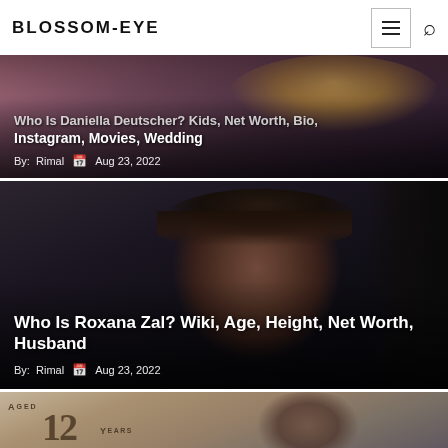BLOSSOM-EYE
Who Is Daniella Deutscher? Kids, Net Worth, Bio, Instagram, Movies, Wedding
By: Rimal  Aug 23, 2022
[Figure (photo): Photo of a woman with dark hair in a car, associated with the Roxana Zal article]
Who Is Roxana Zal? Wiki, Age, Height, Net Worth, Husband
By: Rimal  Aug 23, 2022
[Figure (photo): Partial photo showing 'Aged 12 Years' text overlay with a woman in the background]